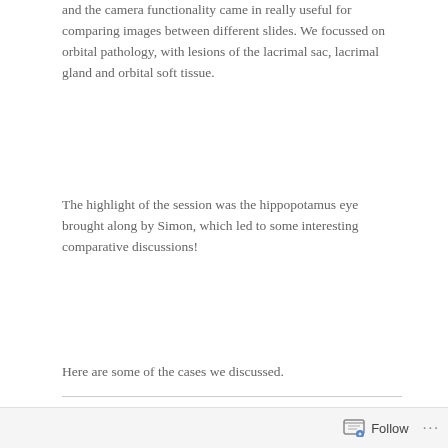and the camera functionality came in really useful for comparing images between different slides. We focussed on orbital pathology, with lesions of the lacrimal sac, lacrimal gland and orbital soft tissue.
The highlight of the session was the hippopotamus eye brought along by Simon, which led to some interesting comparative discussions!
Here are some of the cases we discussed.
Case 1 – lacrimal sac mass in a middle aged patient
[Figure (photo): Histology slide image showing a lacrimal sac tissue section stained with H&E, showing pink and purple staining with visible cellular structures.]
Follow ···